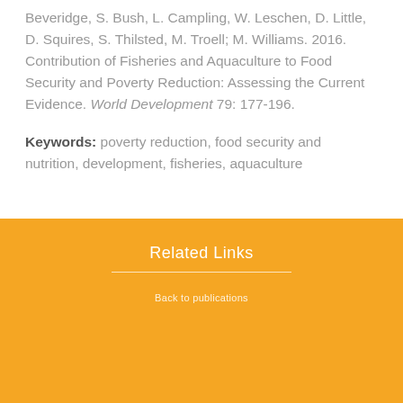Beveridge, S. Bush, L. Campling, W. Leschen, D. Little, D. Squires, S. Thilsted, M. Troell; M. Williams. 2016. Contribution of Fisheries and Aquaculture to Food Security and Poverty Reduction: Assessing the Current Evidence. World Development 79: 177-196.
Keywords: poverty reduction, food security and nutrition, development, fisheries, aquaculture
Related Links
Back to publications